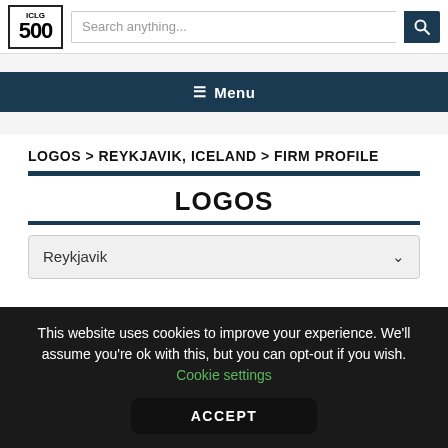ICLG 500 — Search anything...
≡ Menu
LOGOS > REYKJAVIK, ICELAND > FIRM PROFILE
LOGOS
Reykjavik
This website uses cookies to improve your experience. We'll assume you're ok with this, but you can opt-out if you wish. Cookie settings
ACCEPT